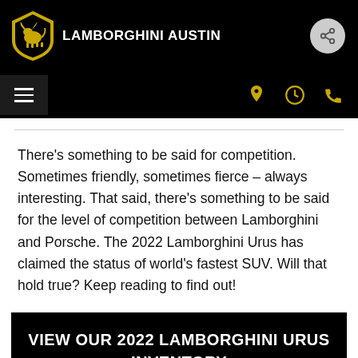LAMBORGHINI AUSTIN
There’s something to be said for competition. Sometimes friendly, sometimes fierce – always interesting. That said, there’s something to be said for the level of competition between Lamborghini and Porsche. The 2022 Lamborghini Urus has claimed the status of world’s fastest SUV. Will that hold true? Keep reading to find out!
VIEW OUR 2022 LAMBORGHINI URUS INVENTORY